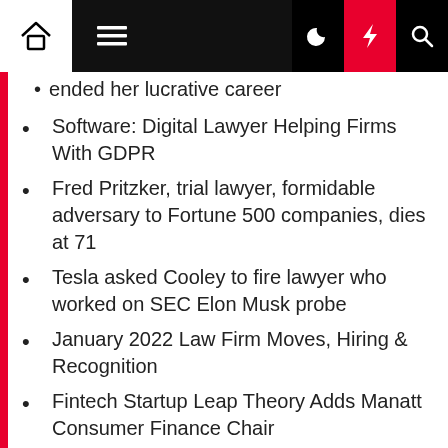Navigation bar with home, menu, dark mode, lightning/breaking news, and search icons
ended her lucrative career
Software: Digital Lawyer Helping Firms With GDPR
Fred Pritzker, trial lawyer, formidable adversary to Fortune 500 companies, dies at 71
Tesla asked Cooley to fire lawyer who worked on SEC Elon Musk probe
January 2022 Law Firm Moves, Hiring & Recognition
Fintech Startup Leap Theory Adds Manatt Consumer Finance Chair
Meet the lawyers teeing up the Supreme Court climate